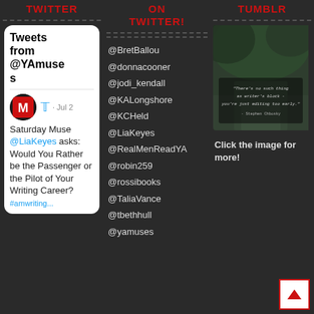TWITTER
ON TWITTER!
TUMBLR
[Figure (screenshot): Twitter widget showing 'Tweets from @YAmuses' with a tweet by YA Muse on Jul 2: 'Saturday Muse @LiaKeyes asks: Would You Rather be the Passenger or the Pilot of Your Writing Career?']
@BretBallou
@donnacooner
@jodi_kendall
@KALongshore
@KCHeld
@LiaKeyes
@RealMenReadYA
@robin259
@rossibooks
@TaliaVance
@tbethhull
@yamuses
[Figure (photo): Dark moody forest/road photo with quote: 'There's no such thing as writer's block - you're just editing too early.' - Stephen Chbosky]
Click the image for more!